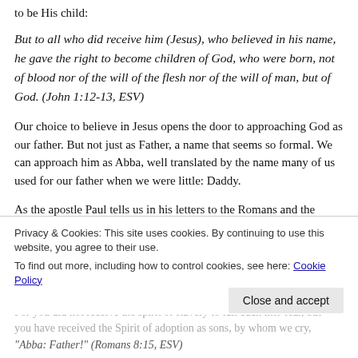to be His child:
But to all who did receive him (Jesus), who believed in his name, he gave the right to become children of God, who were born, not of blood nor of the will of the flesh nor of the will of man, but of God. (John 1:12-13, ESV)
Our choice to believe in Jesus opens the door to approaching God as our father. But not just as Father, a name that seems so formal. We can approach him as Abba, well translated by the name many of us used for our father when we were little: Daddy.
As the apostle Paul tells us in his letters to the Romans and the Galatians:
For you did not receive the spirit of slavery to fall back into fear, but you have received the Spirit of adoption as sons, by whom we cry, "Abba: Father!" (Romans 8:15, ESV)
Privacy & Cookies: This site uses cookies. By continuing to use this website, you agree to their use.
To find out more, including how to control cookies, see here: Cookie Policy
Close and accept